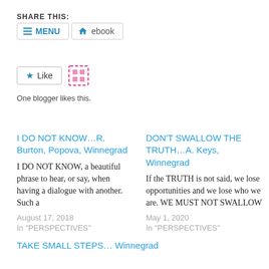SHARE THIS:
[Figure (screenshot): Navigation bar with MENU button (hamburger icon, blue) and ebook button (house icon)]
[Figure (screenshot): Like button with blue star icon and a pink dashed grid icon beside it]
One blogger likes this.
I DO NOT KNOW…R. Burton, Popova, Winnegrad
I DO NOT KNOW, a beautiful phrase to hear, or say, when having a dialogue with another. Such a
August 17, 2018
In "PERSPECTIVES"
DON'T SWALLOW THE TRUTH…A. Keys, Winnegrad
If the TRUTH is not said, we lose opportunities and we lose who we are. WE MUST NOT SWALLOW
May 1, 2020
In "PERSPECTIVES"
TAKE SMALL STEPS… Winnegrad